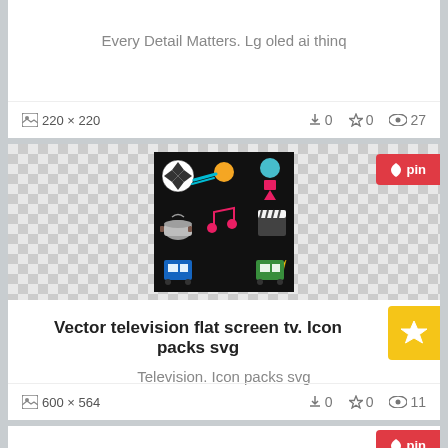Every Detail Matters. Lg oled ai thinq
220 × 220  ⬇0  ☆0  👁 27
[Figure (illustration): Grid of 9 television/entertainment icons on black background: soccer ball, shooting star, satellite dish, cooking pot, music note, film clapperboard, TV with wheels, crown, TV with wheels]
Vector television flat screen tv. Icon packs svg
Television. Icon packs svg
600 × 564  ⬇0  ☆0  👁 11